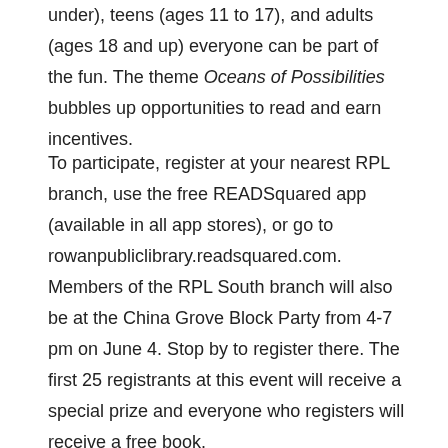under), teens (ages 11 to 17), and adults (ages 18 and up) everyone can be part of the fun. The theme Oceans of Possibilities bubbles up opportunities to read and earn incentives.
To participate, register at your nearest RPL branch, use the free READSquared app (available in all app stores), or go to rowanpubliclibrary.readsquared.com. Members of the RPL South branch will also be at the China Grove Block Party from 4-7 pm on June 4. Stop by to register there. The first 25 registrants at this event will receive a special prize and everyone who registers will receive a free book.
Children earn prizes after logging 5, 10, 15, and 20 reading hours. Prizes are given according to ages: babies and toddlers, preschoolers, and school-age children (rising K-fifth grade). Prizes can be picked up at any RPL branch. All children who read 20 hours receive a special reader's certificate, a coupon for South Main Book Company, and one entry in the Super Reader Raffle held on Aug. 1. Children may log hours from May 30 through July